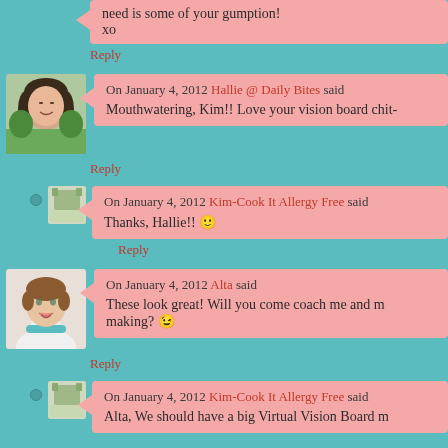need is some of your gumption!
xo
Reply
[Figure (photo): Avatar photo of Hallie, woman with dark hair]
On January 4, 2012 Hallie @ Daily Bites said
Mouthwatering, Kim!! Love your vision board chit-
Reply
[Figure (photo): Small placeholder avatar icon]
On January 4, 2012 Kim-Cook It Allergy Free said
Thanks, Hallie!! 🙂
Reply
[Figure (photo): Avatar photo of Alta, woman with short brown hair smiling]
On January 4, 2012 Alta said
These look great! Will you come coach me and m making? 🙂
Reply
[Figure (photo): Small placeholder avatar icon]
On January 4, 2012 Kim-Cook It Allergy Free said
Alta, We should have a big Virtual Vision Board m